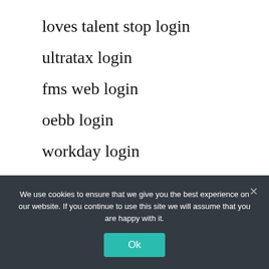loves talent stop login
ultratax login
fms web login
oebb login
workday login
penn box login
loves employee login the wave
condocerts.com login
We use cookies to ensure that we give you the best experience on our website. If you continue to use this site we will assume that you are happy with it.